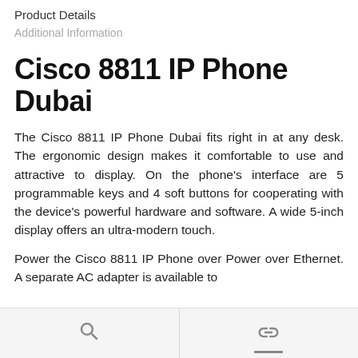Product Details
Additional Information
Cisco 8811 IP Phone Dubai
The Cisco 8811 IP Phone Dubai fits right in at any desk. The ergonomic design makes it comfortable to use and attractive to display. On the phone's interface are 5 programmable keys and 4 soft buttons for cooperating with the device's powerful hardware and software. A wide 5-inch display offers an ultra-modern touch.
Power the Cisco 8811 IP Phone over Power over Ethernet. A separate AC adapter is available to